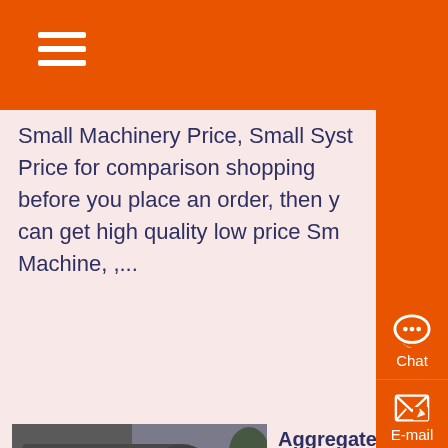Small Machinery Price, Small Syst Price for comparison shopping before you place an order, then can get high quality low price Sm Machine, ,...
Aggregate Equipment For Sa Crushing, Screening ,
Know More
[Figure (photo): Industrial aggregate equipment / machinery photographed outdoors, dark grey metal machinery on a concrete surface]
Nov 20, 2021 0183 32 Shop aggregate equipment for sale 1,394 new and used pieces of aggregate equipment to choose from Find the best priced crushe aggregate scroon, stacker